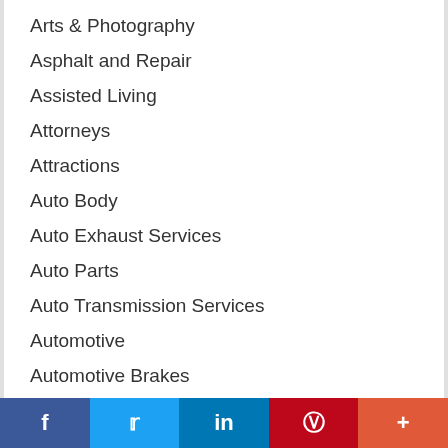Arts & Photography
Asphalt and Repair
Assisted Living
Attorneys
Attractions
Auto Body
Auto Exhaust Services
Auto Parts
Auto Transmission Services
Automotive
Automotive Brakes
Automotive Repairs
Bail Bonds
Baking
f  Twitter  in  Pinterest  +